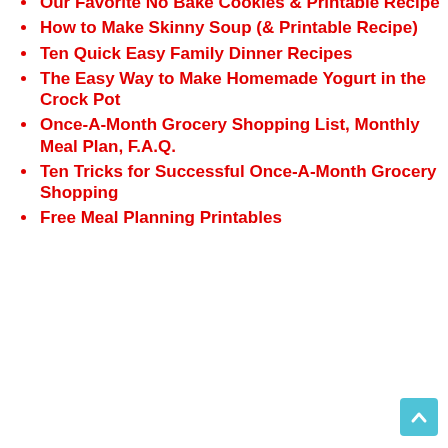Our Favorite No Bake Cookies & Printable Recipe
How to Make Skinny Soup (& Printable Recipe)
Ten Quick Easy Family Dinner Recipes
The Easy Way to Make Homemade Yogurt in the Crock Pot
Once-A-Month Grocery Shopping List, Monthly Meal Plan, F.A.Q.
Ten Tricks for Successful Once-A-Month Grocery Shopping
Free Meal Planning Printables